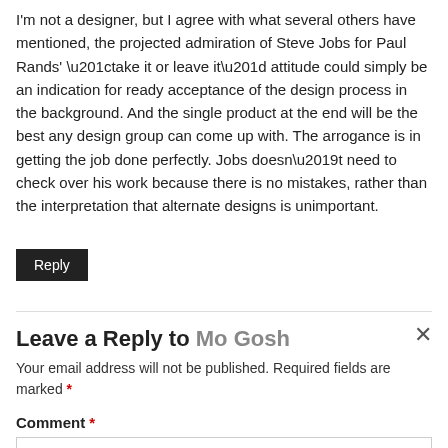I'm not a designer, but I agree with what several others have mentioned, the projected admiration of Steve Jobs for Paul Rands' “take it or leave it” attitude could simply be an indication for ready acceptance of the design process in the background. And the single product at the end will be the best any design group can come up with. The arrogance is in getting the job done perfectly. Jobs doesn’t need to check over his work because there is no mistakes, rather than the interpretation that alternate designs is unimportant.
Reply
Leave a Reply to Mo Gosh
Your email address will not be published. Required fields are marked *
Comment *